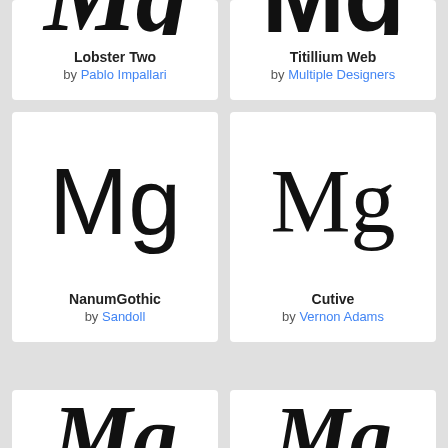[Figure (illustration): Partial font card at top-left showing 'Mg' in Lobster Two italic script style, font name: Lobster Two, by Pablo Impallari]
[Figure (illustration): Partial font card at top-right showing 'Mg' in Titillium Web bold style, font name: Titillium Web, by Multiple Designers]
[Figure (illustration): Font card showing 'Mg' in NanumGothic style, font name: NanumGothic, by Sandoll]
[Figure (illustration): Font card showing 'Mg' in Cutive serif style, font name: Cutive, by Vernon Adams]
[Figure (illustration): Partial font card at bottom-left showing partial script 'Mg' letterform, partially visible]
[Figure (illustration): Partial font card at bottom-right showing partial letterform, partially visible]